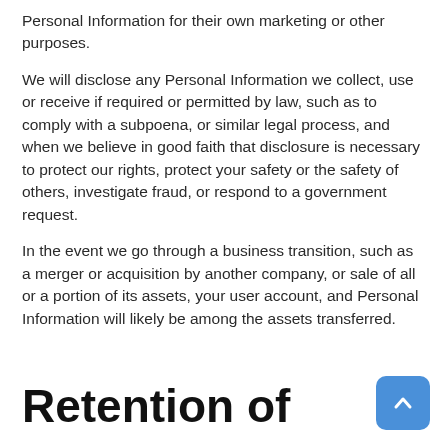Personal Information for their own marketing or other purposes.
We will disclose any Personal Information we collect, use or receive if required or permitted by law, such as to comply with a subpoena, or similar legal process, and when we believe in good faith that disclosure is necessary to protect our rights, protect your safety or the safety of others, investigate fraud, or respond to a government request.
In the event we go through a business transition, such as a merger or acquisition by another company, or sale of all or a portion of its assets, your user account, and Personal Information will likely be among the assets transferred.
Retention of